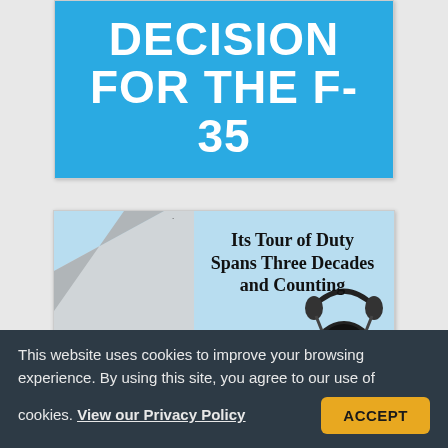DECISION FOR THE F-35
[Figure (illustration): Military aviation image showing a USAF tail fin on the left and a headset/oxygen mask on the right against a blue sky background, with text 'Its Tour of Duty Spans Three Decades and Counting' and 'Model H10-76']
This website uses cookies to improve your browsing experience. By using this site, you agree to our use of cookies. View our Privacy Policy
ACCEPT